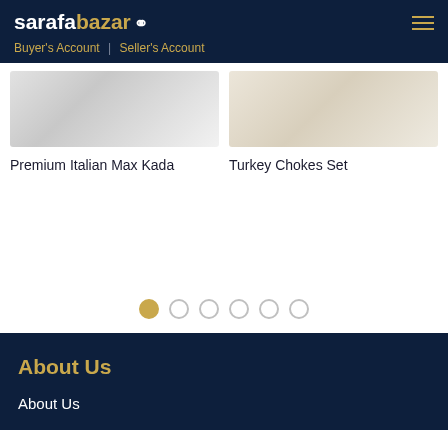sarafabazar | Buyer's Account | Seller's Account
[Figure (photo): Product image of Premium Italian Max Kada jewelry item, light grey/silver background]
Premium Italian Max Kada
[Figure (photo): Product image of Turkey Chokes Set jewelry item, beige/cream background]
Turkey Chokes Set
About Us
About Us